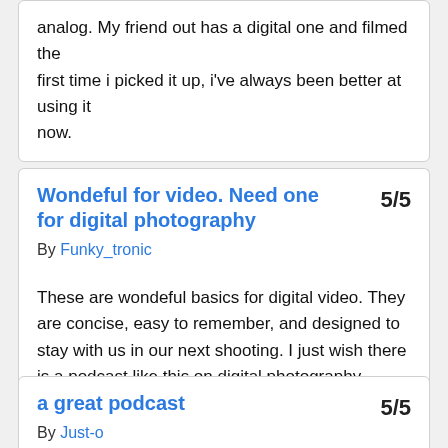analog. My friend out has a digital one and filmed the first time i picked it up, i've always been better at using it now.
Wondeful for video. Need one for digital photography
5/5
By Funky_tronic
These are wondeful basics for digital video. They are concise, easy to remember, and designed to stay with us in our next shooting. I just wish there is a podcast like this on digital photography. Something for Mr. Hyman to think about.
a great podcast
5/5
By Just-o